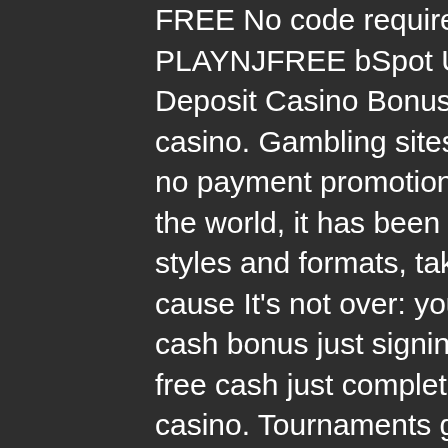FREE No code required BetMGM $25 No Deposit Bonus PLAYNJFREE bSpot Up To $10 BONUS10. Types of No Deposit Casino Bonus Codes in USA, take me to the casino. Gambling sites have created different varieties of no payment promotions. Since it is played in many parts of the world, it has been gradually modified into several styles and formats, take me to the casino. Pay attention cause It's not over: you've receive an extra additional 10$ cash bonus just signing up. This means that you've gain free cash just completing registration, take me to the casino. Tournaments got five-figure price guaranteed pools weekly and daily, this is why Ignition Casino Poker is one of the tops of online poker in the world.
Soaring eagle casino poker room
Get driving directions on how to visit resorts